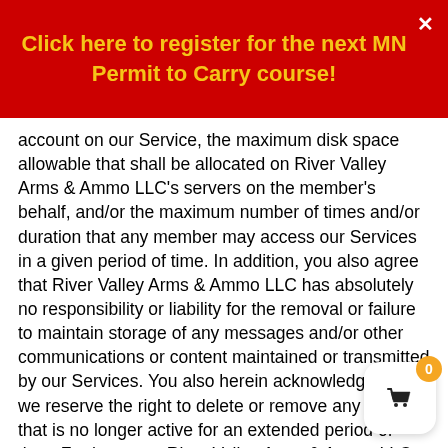Click here to register for the next MN Permit to Carry course!
account on our Service, the maximum disk space allowable that shall be allocated on River Valley Arms & Ammo LLC's servers on the member's behalf, and/or the maximum number of times and/or duration that any member may access our Services in a given period of time. In addition, you also agree that River Valley Arms & Ammo LLC has absolutely no responsibility or liability for the removal or failure to maintain storage of any messages and/or other communications or content maintained or transmitted by our Services. You also herein acknowledge that we reserve the right to delete or remove any account that is no longer active for an extended period of time. Furthermore, River Valley Arms & Ammo LLC shall reserve the right to modify, alter, update these general practices and limits at our discretion.